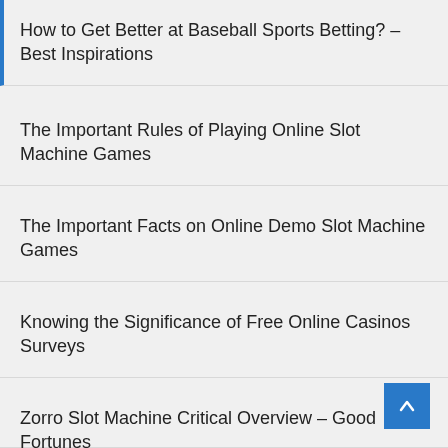How to Get Better at Baseball Sports Betting? – Best Inspirations
The Important Rules of Playing Online Slot Machine Games
The Important Facts on Online Demo Slot Machine Games
Knowing the Significance of Free Online Casinos Surveys
Zorro Slot Machine Critical Overview – Good Fortunes